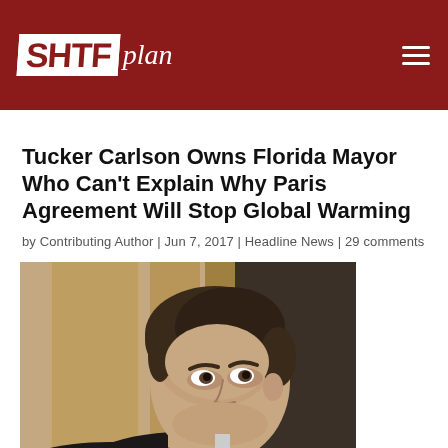SHTFplan
Tucker Carlson Owns Florida Mayor Who Can't Explain Why Paris Agreement Will Stop Global Warming
by Contributing Author | Jun 7, 2017 | Headline News | 29 comments
[Figure (photo): Photo of Tucker Carlson, a man in a dark suit with brown hair, looking to the side, with wooden furniture in the background]